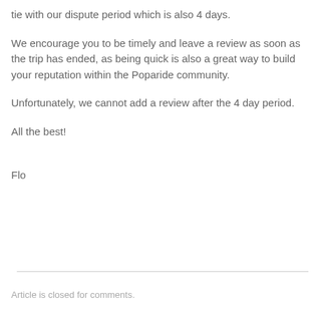tie with our dispute period which is also 4 days.
We encourage you to be timely and leave a review as soon as the trip has ended, as being quick is also a great way to build your reputation within the Poparide community.
Unfortunately, we cannot add a review after the 4 day period.
All the best!
Flo
Article is closed for comments.